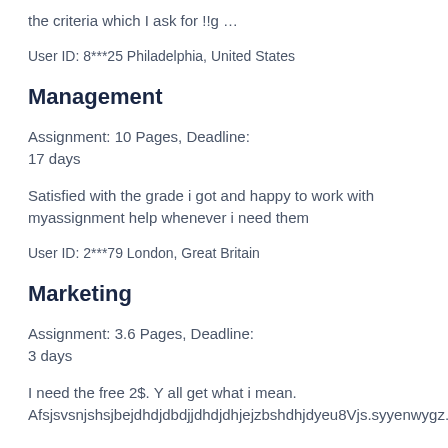the criteria which I ask for !!g …
User ID: 8***25 Philadelphia, United States
Management
Assignment: 10 Pages, Deadline:
17 days
Satisfied with the grade i got and happy to work with myassignment help whenever i need them
User ID: 2***79 London, Great Britain
Marketing
Assignment: 3.6 Pages, Deadline:
3 days
I need the free 2$. Y all get what i mean.
Afsjsvsnjshsjbejdhdjdbdjjdhdjdhjejzbshdhjdyeu8Vjs.syyenwygz.